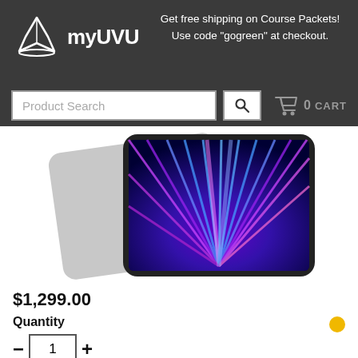[Figure (logo): myUVU logo with mountain/star icon and bold text]
Get free shipping on Course Packets! Use code "gogreen" at checkout.
Product Search
[Figure (photo): Apple iPad Pro product photo showing two tablets, one face-down (silver) and one face-up with colorful purple and blue radial wallpaper on the display]
$1,299.00
Quantity
1